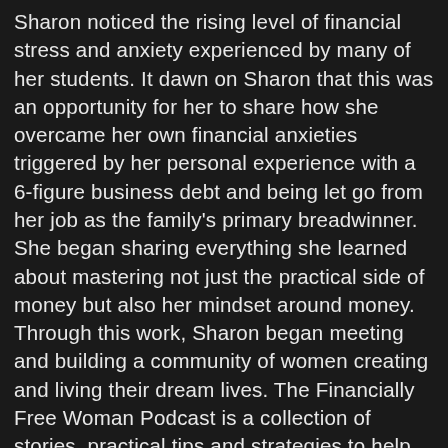Sharon noticed the rising level of financial stress and anxiety experienced by many of her students. It dawn on Sharon that this was an opportunity for her to share how she overcame her own financial anxieties triggered by her personal experience with a 6-figure business debt and being let go from her job as the family's primary breadwinner. She began sharing everything she learned about mastering not just the practical side of money but also her mindset around money. Through this work, Sharon began meeting and building a community of women creating and living their dream lives. The Financially Free Woman Podcast is a collection of stories, practical tips and strategies to help you discover your passions, and use them to make a lucrative living. Imagine a life where you spend your time doing what you love and getting paid well for it! That's exactly what these women featured on the podcast